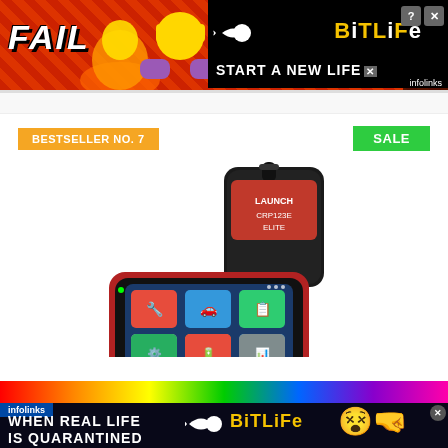[Figure (other): BitLife advertisement banner at top: red background with FAIL text, cartoon emoji, BitLife logo, and START A NEW LIFE text on black background. Infolinks branding bottom right.]
BESTSELLER NO. 7
SALE
[Figure (photo): LAUNCH CRP123E ELITE OBD2 scanner/diagnostic tool in red and black, with touchscreen showing app icons, and black carrying case behind it.]
[Figure (other): BitLife advertisement banner at bottom: rainbow stripe at top, dark background with WHEN REAL LIFE IS QUARANTINED text, BitLife logo, emoji characters. Infolinks branding top left.]